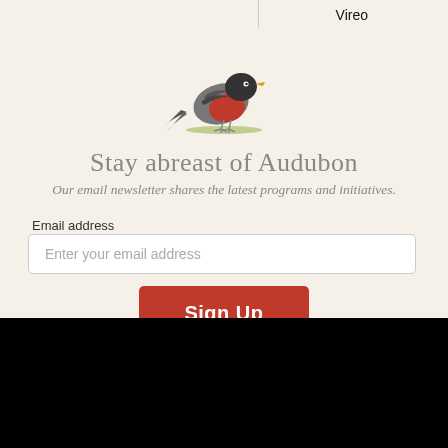Vireo
[Figure (illustration): Illustration of a robin bird with red breast standing on grass, facing left]
Stay abreast of Audubon
Our email newsletter shares the latest programs and initiatives.
Email address
Enter your email address
Sign Up
[Figure (logo): Audubon logo with bird illustration and text 'Audubon' in white on black background]
National Audubon Society